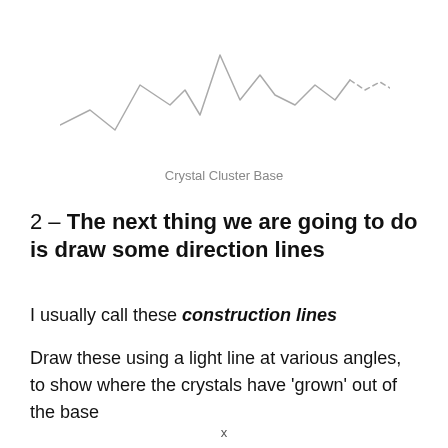[Figure (illustration): A hand-drawn style wavy/jagged line representing a crystal cluster base, drawn in light gray with a dashed portion toward the right end.]
Crystal Cluster Base
2 – The next thing we are going to do is draw some direction lines
I usually call these construction lines
Draw these using a light line at various angles, to show where the crystals have ‘grown’ out of the base
x